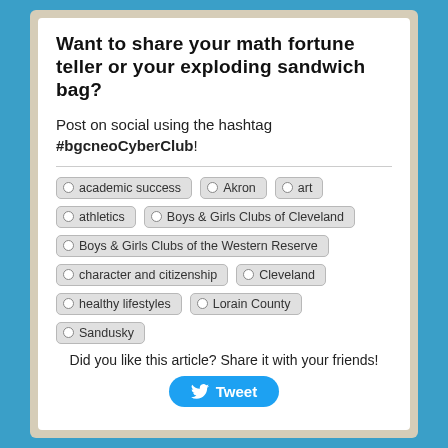Want to share your math fortune teller or your exploding sandwich bag?
Post on social using the hashtag #bgcneoCyberClub!
academic success
Akron
art
athletics
Boys & Girls Clubs of Cleveland
Boys & Girls Clubs of the Western Reserve
character and citizenship
Cleveland
healthy lifestyles
Lorain County
Sandusky
Did you like this article? Share it with your friends!
Tweet